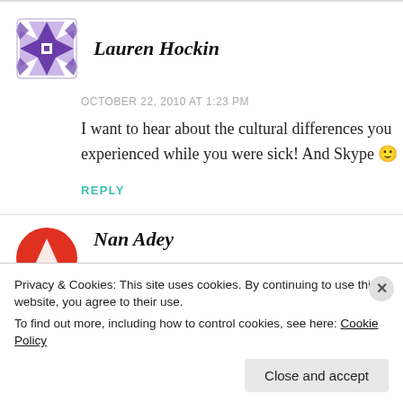Lauren Hockin
OCTOBER 22, 2010 AT 1:23 PM
I want to hear about the cultural differences you experienced while you were sick! And Skype 🙂
REPLY
Nan Adey
Privacy & Cookies: This site uses cookies. By continuing to use this website, you agree to their use. To find out more, including how to control cookies, see here: Cookie Policy
Close and accept